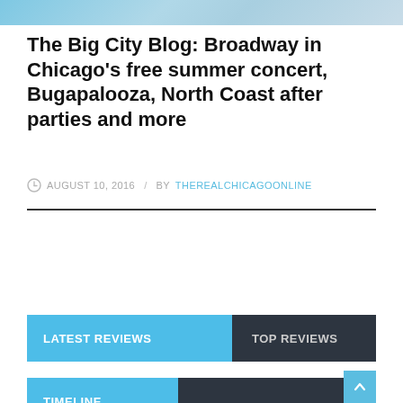The Big City Blog: Broadway in Chicago's free summer concert, Bugapalooza, North Coast after parties and more
AUGUST 10, 2016 / BY THEREALCHICAGOONLINE
LATEST REVIEWS   TOP REVIEWS
TIMELINE